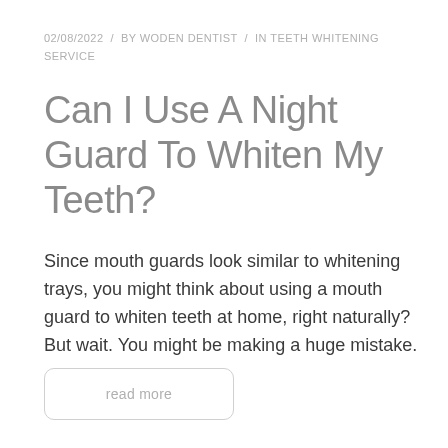02/08/2022  /  BY WODEN DENTIST  /  IN TEETH WHITENING SERVICE
Can I Use A Night Guard To Whiten My Teeth?
Since mouth guards look similar to whitening trays, you might think about using a mouth guard to whiten teeth at home, right naturally? But wait. You might be making a huge mistake.
read more